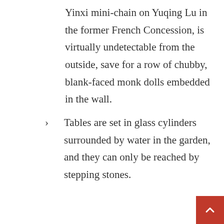Yinxi mini-chain on Yuqing Lu in the former French Concession, is virtually undetectable from the outside, save for a row of chubby, blank-faced monk dolls embedded in the wall.
Tables are set in glass cylinders surrounded by water in the garden, and they can only be reached by stepping stones.
The interiors of some of these establishments appeal to the younger generation; others make tea the centerpiece of their operations, with formal ceremonies requiring a skilled practitioner, or as a luxury product with prices for particularly rare